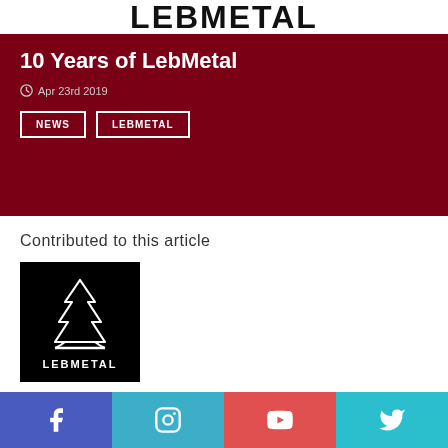LEBMETAL
10 Years of LebMetal
Apr 23rd 2019
NEWS  LEBMETAL
Contributed to this article
[Figure (logo): LebMetal logo: white pine tree outline on black background with LEBMETAL text below]
Facebook  Instagram  YouTube  Twitter social media icons